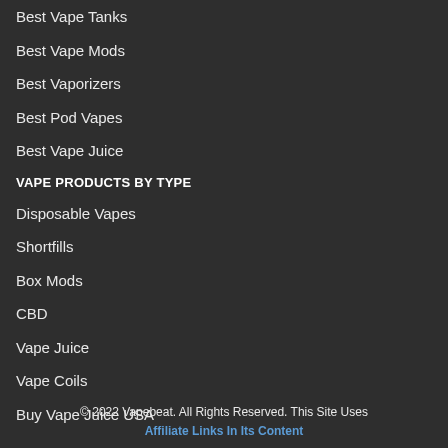Best Vape Tanks
Best Vape Mods
Best Vaporizers
Best Pod Vapes
Best Vape Juice
VAPE PRODUCTS BY TYPE
Disposable Vapes
Shortfills
Box Mods
CBD
Vape Juice
Vape Coils
Buy Vape Juice USA
© 2022 Vapebeat. All Rights Reserved. This Site Uses Affiliate Links In Its Content